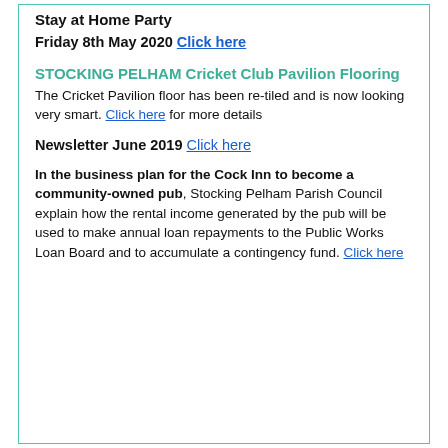Stay at Home Party
Friday 8th May 2020 Click here
STOCKING PELHAM Cricket Club Pavilion Flooring
The Cricket Pavilion floor has been re-tiled and is now looking very smart. Click here for more details
Newsletter June 2019 Click here
In the business plan for the Cock Inn to become a community-owned pub, Stocking Pelham Parish Council explain how the rental income generated by the pub will be used to make annual loan repayments to the Public Works Loan Board and to accumulate a contingency fund. Click here